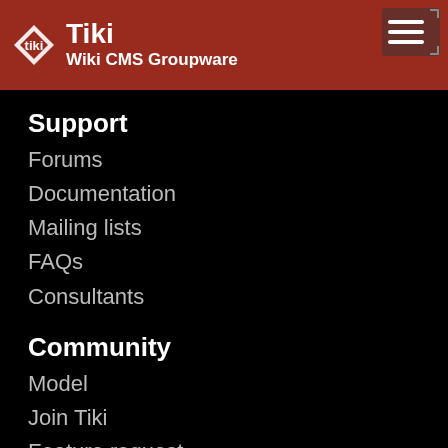Tiki Wiki CMS Groupware
Support
Forums
Documentation
Mailing lists
FAQs
Consultants
Community
Model
Join Tiki
Feature request
Bug report
Roadmap
Featured Tikis
Events
Videos
[Figure (other): Up arrow scroll-to-top button, grey triangle pointing up, positioned bottom right]